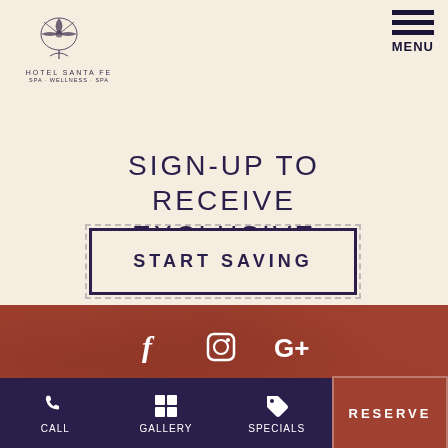[Figure (logo): Hotel Santa Fe logo with decorative botanical motif and text 'HOTEL SANTA FE' below]
SIGN-UP TO RECEIVE EXCLUSIVE OFFERS
START SAVING
[Figure (infographic): Social media icons: Facebook (f), Instagram (camera), Google+ (G+) in white on terracotta background]
AWARDS
6 time winner of the World
CALL  GALLERY  SPECIALS  RESERVE